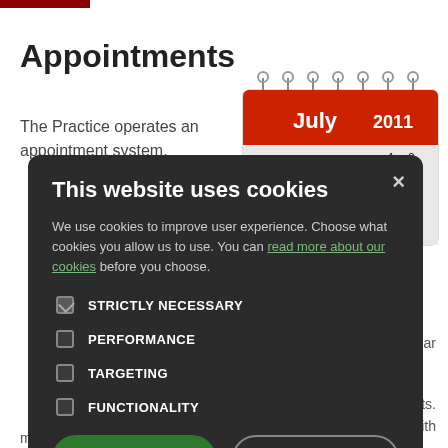Appointments
The Practice operates an appointment system.
[Figure (photo): A July 2011 desk calendar with red spiral binding, showing the month of July 2011 with dates visible.]
see a particular
e Receptionists. Intment with
both in the morning and in the afternoon.
[Figure (screenshot): Cookie consent modal dialog with dark background. Title: 'This website uses cookies'. Body text: 'We use cookies to improve user experience. Choose what cookies you allow us to use. You can read more about our cookies before you choose.' Checkboxes for: STRICTLY NECESSARY (checked), PERFORMANCE, TARGETING, FUNCTIONALITY. Two buttons: ACCEPT ALL (green) and DECLINE ALL (outline).]